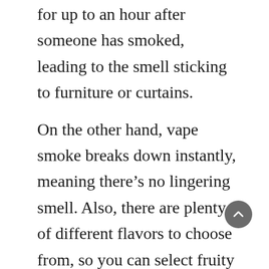for up to an hour after someone has smoked, leading to the smell sticking to furniture or curtains.
On the other hand, vape smoke breaks down instantly, meaning there's no lingering smell. Also, there are plenty of different flavors to choose from, so you can select fruity fragrances to increase the aroma around you.
Vaping vs. Smoking I No Longer a Deba...